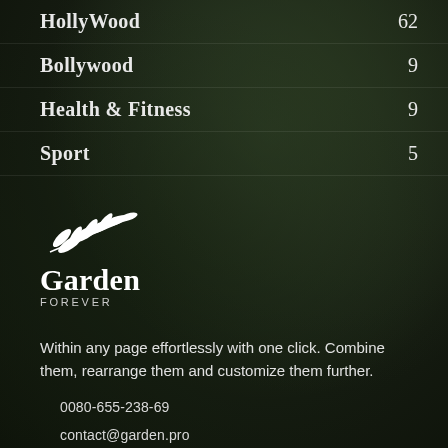HollyWood  62
Bollywood  9
Health & Fitness  9
Sport  5
[Figure (logo): Garden Forever logo with white leaf/branch illustration above text 'Garden' in serif font and 'FOREVER' in small caps below]
Within any page effortlessly with one click. Combine them, rearrange them and customize them further.
0080-655-238-69
contact@garden.pro
CA5O932 Los Angeles